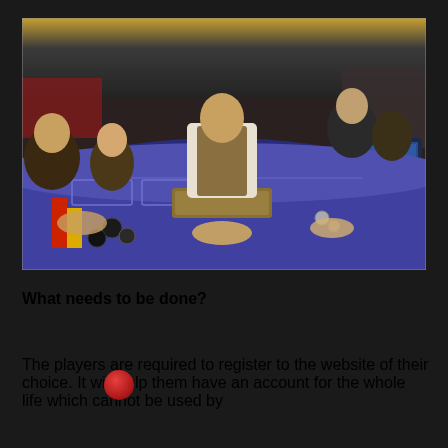[Figure (photo): Casino table scene with a dealer in a vest leaning over a purple baccarat/gaming table surrounded by players with chips]
What needs to be done?
The players are required to register to the website of their choice. It will help them have an account for the whole life which cannot be used by